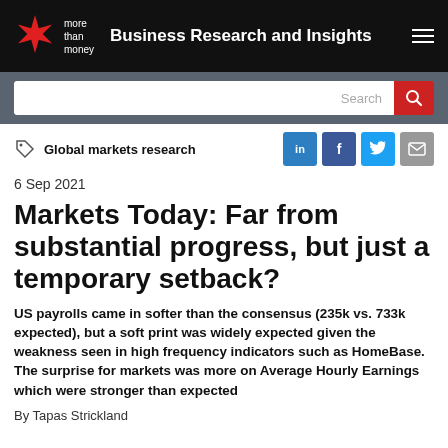more than money — Business Research and Insights
Search
Global markets research
6 Sep 2021
Markets Today: Far from substantial progress, but just a temporary setback?
US payrolls came in softer than the consensus (235k vs. 733k expected), but a soft print was widely expected given the weakness seen in high frequency indicators such as HomeBase. The surprise for markets was more on Average Hourly Earnings which were stronger than expected
By Tapas Strickland